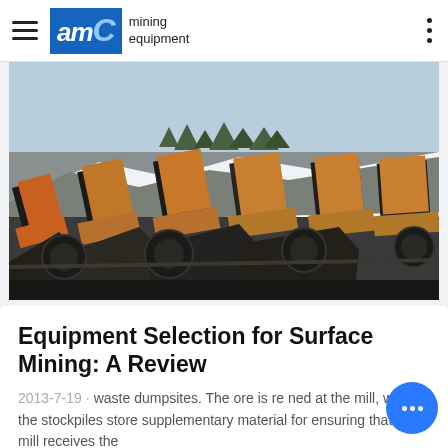AMC mining equipment
[Figure (photo): Outdoor mining site showing rows of large orange and black industrial mining equipment hoppers or conveyors with a rocky cliff face and trees in the background under a blue sky.]
Equipment Selection for Surface Mining: A Review
2013-7-19 · waste dumpsites. The ore is re ned at the mill, while the stockpiles store supplementary material for ensuring that the mill receives the